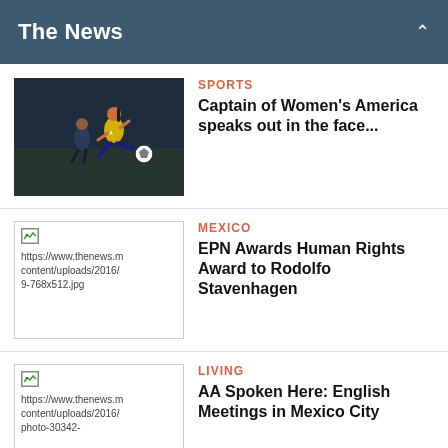The News
[Figure (photo): Female soccer player in yellow uniform kicking a ball, another player in dark uniform in background]
SPORTS
Captain of Women's America speaks out in the face...
[Figure (photo): Broken image placeholder showing URL: https://www.thenews.m content/uploads/2016/ 9-768x512.jpg]
MEXICO
EPN Awards Human Rights Award to Rodolfo Stavenhagen
[Figure (photo): Broken image placeholder showing URL: https://www.thenews.m content/uploads/2016/ photo-30342-]
LIVING
AA Spoken Here: English Meetings in Mexico City